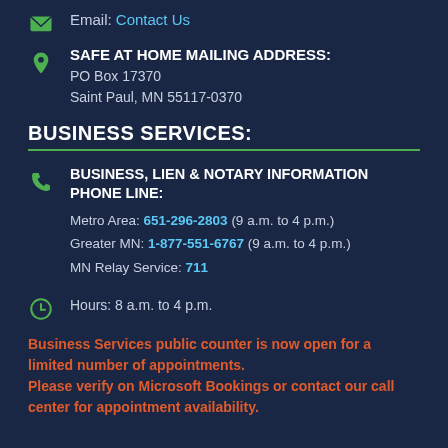Email: Contact Us
SAFE AT HOME MAILING ADDRESS:
PO Box 17370
Saint Paul, MN 55117-0370
BUSINESS SERVICES:
BUSINESS, LIEN & NOTARY INFORMATION PHONE LINE:
Metro Area: 651-296-2803 (9 a.m. to 4 p.m.)
Greater MN: 1-877-551-6767 (9 a.m. to 4 p.m.)
MN Relay Service: 711
Hours: 8 a.m. to 4 p.m.
Business Services public counter is now open for a limited number of appointments. Please verify on Microsoft Bookings or contact our call center for appointment availability.